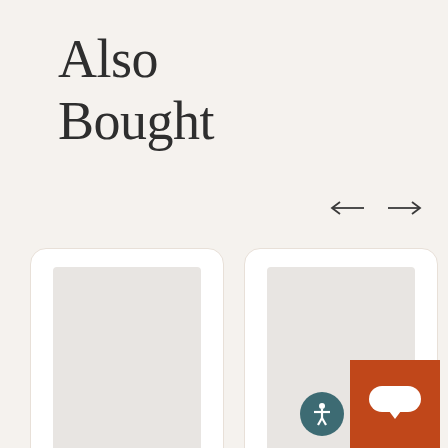Also Bought
[Figure (illustration): Navigation arrows: left arrow and right arrow for carousel navigation]
[Figure (illustration): Two product card placeholders side by side, each showing a grey rectangular image placeholder inside a white rounded card. Bottom right shows an accessibility icon button and an orange chat button.]